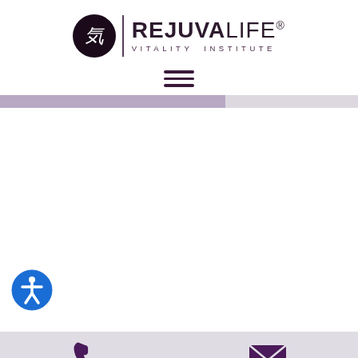[Figure (logo): RejuvaLife Vitality Institute logo with circular black emblem containing a Chinese character, vertical divider line, bold REJUVALIFE text and VITALITY INSTITUTE subtitle]
[Figure (other): Hamburger menu icon with three horizontal dark lines]
[Figure (other): Purple/lavender horizontal bar spanning about 63% of page width, followed by lighter grey bar for the rest]
[Figure (other): Accessibility icon: blue circle with white figure in universal accessibility pose]
[Figure (other): Footer bar with purple phone handset icon on left and purple envelope/email icon on right]